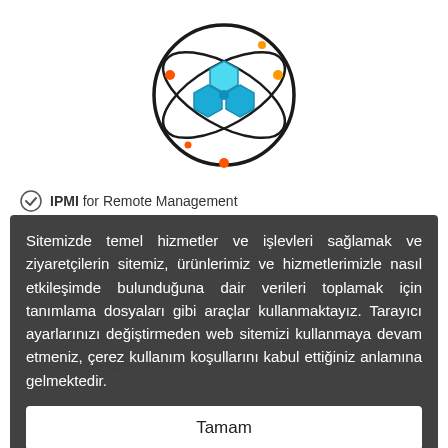[Figure (logo): Circular logo with hexagonal network/molecule icon in blue tones with orange accent dots on a white background]
IPMI for Remote Management
Sitemizde temel hizmetler ve işlevleri sağlamak ve ziyaretçilerin sitemiz, ürünlerimiz ve hizmetlerimizle nasıl etkileşimde bulunduğuna dair verileri toplamak için tanımlama dosyaları gibi araçlar kullanmaktayız. Tarayıcı ayarlarınızı değiştirmeden web sitemizi kullanmaya devam etmeniz, çerez kullanım koşullarını kabul ettiğiniz anlamına gelmektedir.
Tamam
Çerez Politikası